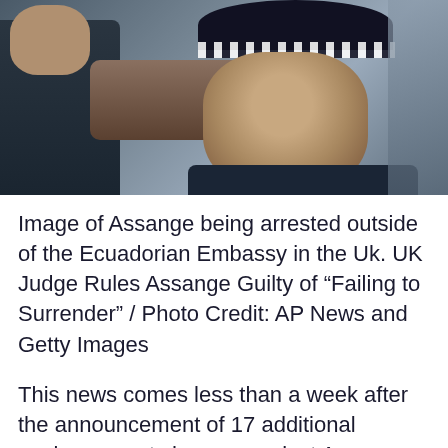[Figure (photo): Photo of Julian Assange being arrested by UK police officers outside the Ecuadorian Embassy. A police officer in a checkered-band hat is visible in the foreground on the right, and another person is visible on the left.]
Image of Assange being arrested outside of the Ecuadorian Embassy in the Uk. UK Judge Rules Assange Guilty of “Failing to Surrender” / Photo Credit: AP News and Getty Images
This news comes less than a week after the announcement of 17 additional espionage act charges against Assange. The espionage cases could land Assange